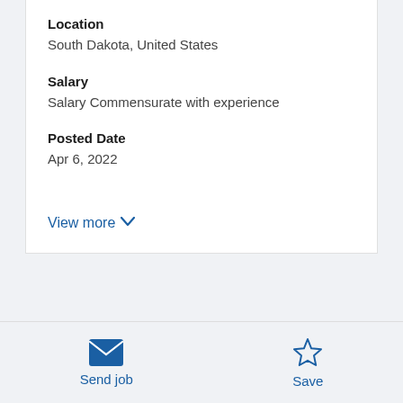Location
South Dakota, United States
Salary
Salary Commensurate with experience
Posted Date
Apr 6, 2022
View more
Augustana University seeks to fill a visiting, full-time position in the Department of Chemistry &
Send job
Save